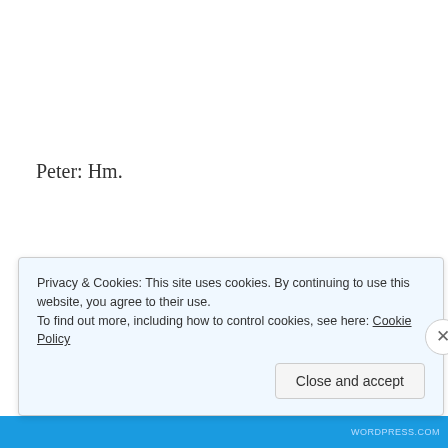Peter: Hm.
Scampi: So, this playing card. Apparently Annie Oakley could put five or six more holes in it before it hit the
Privacy & Cookies: This site uses cookies. By continuing to use this website, you agree to their use.
To find out more, including how to control cookies, see here: Cookie Policy
Close and accept